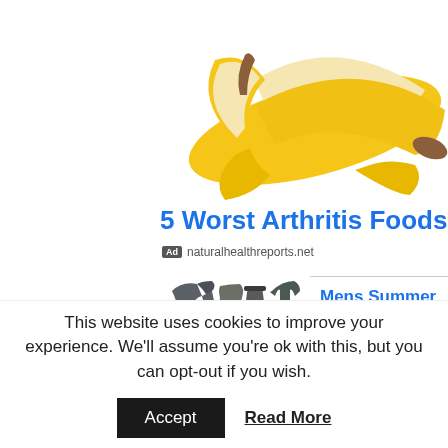[Figure (photo): Peeled banana on white background]
5 Worst Arthritis Foods
Ad naturalhealthreports.net
[Figure (photo): Men's dark clothing items — jacket, shorts, t-shirt]
Mens Summer Clothing Clearance
Ad Cotosen
[Figure (photo): Orange/brown rectangular banner image]
Find Canada Jobs
This website uses cookies to improve your experience. We'll assume you're ok with this, but you can opt-out if you wish.
Accept   Read More